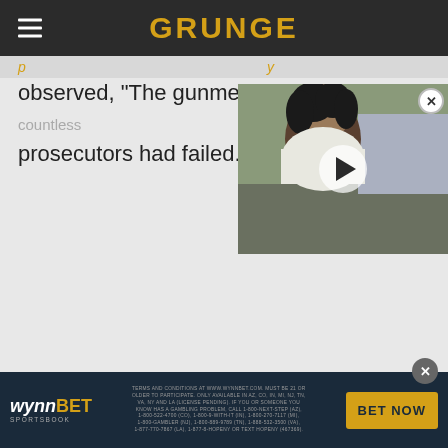GRUNGE
observed, "The gunmen succeeded where countless prosecutors had failed."
[Figure (photo): Video thumbnail overlay showing a man with curly dark hair outdoors, with a play button in the center and a close (X) button in the top-right corner.]
WynnBET SPORTSBOOK — TERMS AND CONDITIONS AT WWW.WYNNBET.COM. MUST BE 21 OR OLDER TO PARTICIPATE. ONLY AVAILABLE IN AZ, CO, IN, MI, NJ, TN, VA, NY AND LA (LICENSE PENDING). IF YOU OR SOMEONE YOU KNOW HAS A GAMBLING PROBLEM, CALL 1-800-NEXT-STEP (AZ), 1-800-522-4700 (CO), 1-800-9-WITH-IT (IN), 1-800-270-7117 (MI), 1-800-GAMBLER (NJ), 1-800-889-9789 (TN), 1-888-532-3500 (VA), 1-877-770-7867 (LA), 1-877-8-HOPENY OR TEXT HOPENY (467369). — BET NOW